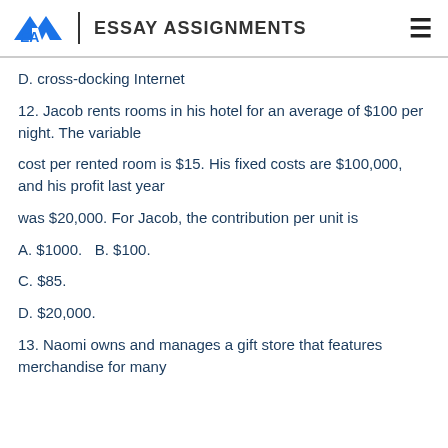EA ESSAY ASSIGNMENTS
D. cross-docking Internet
12. Jacob rents rooms in his hotel for an average of $100 per night. The variable
cost per rented room is $15. His fixed costs are $100,000, and his profit last year
was $20,000. For Jacob, the contribution per unit is
A. $1000. B. $100.
C. $85.
D. $20,000.
13. Naomi owns and manages a gift store that features merchandise for many